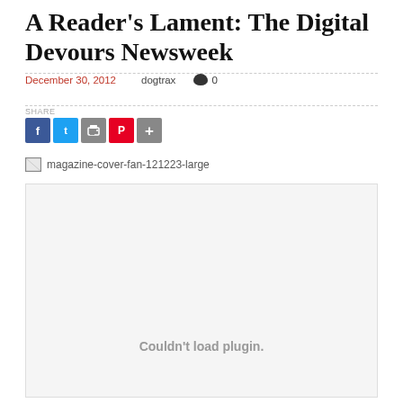A Reader's Lament: The Digital Devours Newsweek
December 30, 2012   dogtrax   0
[Figure (infographic): Social share buttons: Facebook, Twitter, Print, Pinterest, More]
[Figure (photo): Broken image placeholder: magazine-cover-fan-121223-large]
[Figure (other): Embedded plugin box showing 'Couldn't load plugin.' error message]